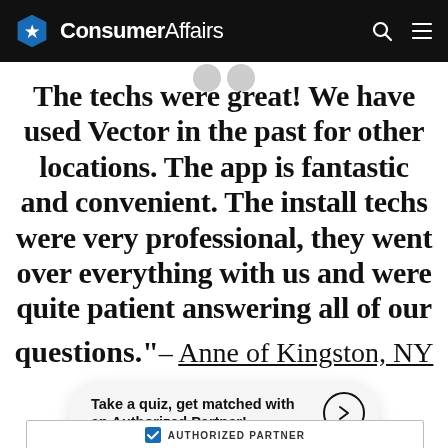ConsumerAffairs
The techs were great! We have used Vector in the past for other locations. The app is fantastic and convenient. The install techs were very professional, they went over everything with us and were quite patient answering all of our questions." – Anne of Kingston, NY
Take a quiz, get matched with an Authorized Partner!
AUTHORIZED PARTNER